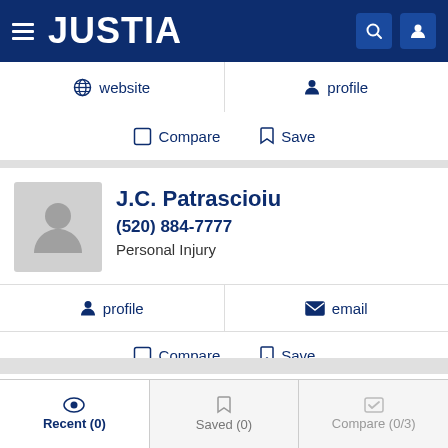JUSTIA
website  profile
Compare  Save
J.C. Patrascioiu
(520) 884-7777
Personal Injury
profile  email
Compare  Save
NEXT
Recent (0)  Saved (0)  Compare (0/3)